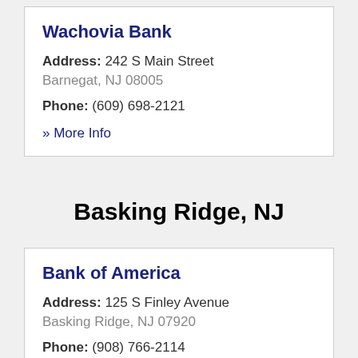Wachovia Bank
Address: 242 S Main Street
Barnegat, NJ 08005
Phone: (609) 698-2121
» More Info
Basking Ridge, NJ
Bank of America
Address: 125 S Finley Avenue
Basking Ridge, NJ 07920
Phone: (908) 766-2114
» More Info